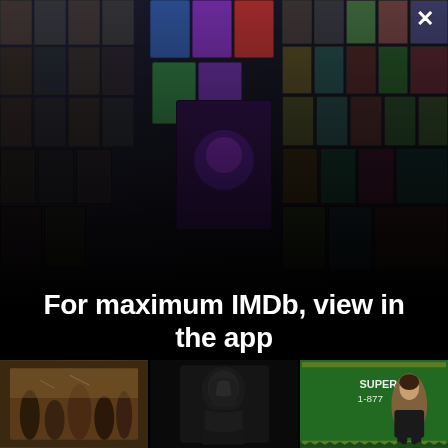[Figure (photo): IMDb promotional collage showing a perspective grid of movie posters and celebrity photos converging toward a vanishing point in the center]
For maximum IMDb, view in the app
Get the app
[Figure (photo): Three movie/show thumbnail images at the bottom: a fantasy ensemble poster, a dark stylized figure, and a woman seated on a green dollar-bill patterned set with text SUPER and 1-877]